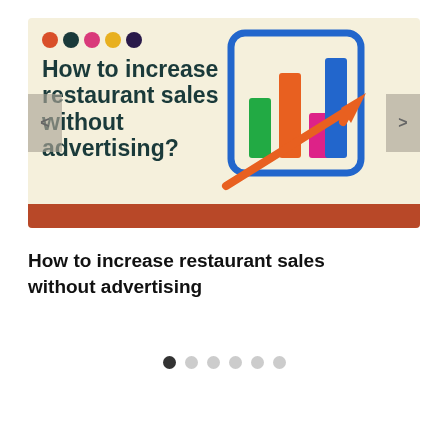[Figure (infographic): Slide banner with colored dots, bold title 'How to increase restaurant sales without advertising?', a bar chart icon with colorful bars and an upward orange arrow, navigation arrows on left and right, and a red/brown bar at bottom.]
How to increase restaurant sales without advertising
[Figure (other): Pagination indicator with 6 dots, first one dark/filled and the rest light gray.]